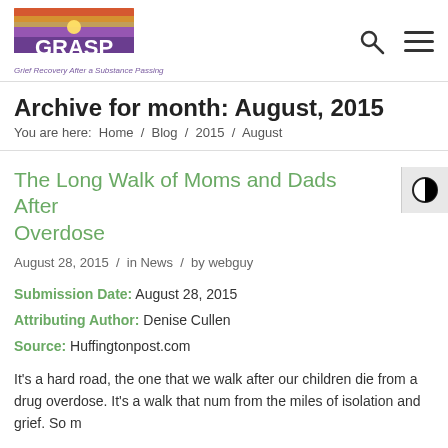[Figure (logo): GRASP logo - Grief Recovery After a Substance Passing, purple and orange sunset design]
Archive for month: August, 2015
You are here: Home / Blog / 2015 / August
The Long Walk of Moms and Dads After Overdose
August 28, 2015 / in News / by webguy
Submission Date: August 28, 2015
Attributing Author: Denise Cullen
Source: Huffingtonpost.com
It's a hard road, the one that we walk after our children die from a drug overdose. It's a walk that num from the miles of isolation and grief. So m